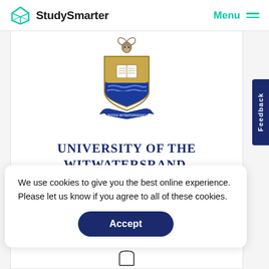StudySmarter | Menu
[Figure (logo): University of the Witwatersrand, Johannesburg crest/coat of arms with a springbok above a shield containing an open book and blue waves, with ribbon banner below]
UNIVERSITY OF THE WITWATERSRAND, JOHANNESBURG
We use cookies to give you the best online experience. Please let us know if you agree to all of these cookies.
Accept